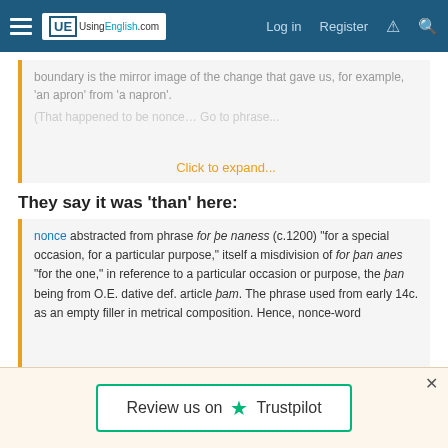UsingEnglish.com — Log in  Register
boundary is the mirror image of the change that gave us, for example, 'an apron' from 'a napron'.
Click to expand...
They say it was 'than' here:
nonce abstracted from phrase for þe naness (c.1200) "for a special occasion, for a particular purpose," itself a misdivision of for þan anes "for the one," in reference to a particular occasion or purpose, the þan being from O.E. dative def. article þam. The phrase used from early 14c. as an empty filler in metrical composition. Hence, nonce-word
Review us on ★ Trustpilot